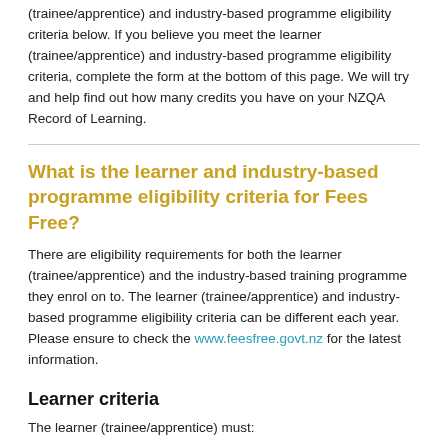(trainee/apprentice) and industry-based programme eligibility criteria below. If you believe you meet the learner (trainee/apprentice) and industry-based programme eligibility criteria, complete the form at the bottom of this page. We will try and help find out how many credits you have on your NZQA Record of Learning.
What is the learner and industry-based programme eligibility criteria for Fees Free?
There are eligibility requirements for both the learner (trainee/apprentice) and the industry-based training programme they enrol on to. The learner (trainee/apprentice) and industry-based programme eligibility criteria can be different each year. Please ensure to check the www.feesfree.govt.nz for the latest information.
Learner criteria
The learner (trainee/apprentice) must: